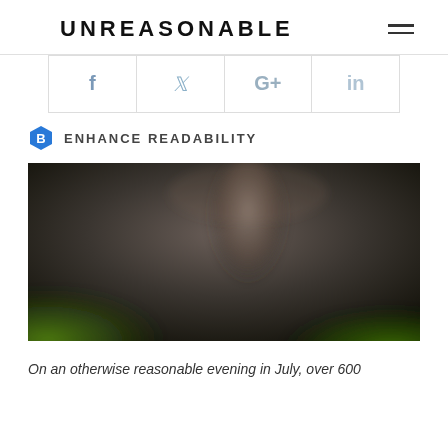UNREASONABLE
[Figure (other): Social share buttons: Facebook (f), Twitter (bird), Google+ (G+), LinkedIn (in)]
ENHANCE READABILITY
[Figure (photo): Blurred photo of a speaker on stage with green glowing text/signage in the background]
On an otherwise reasonable evening in July, over 600